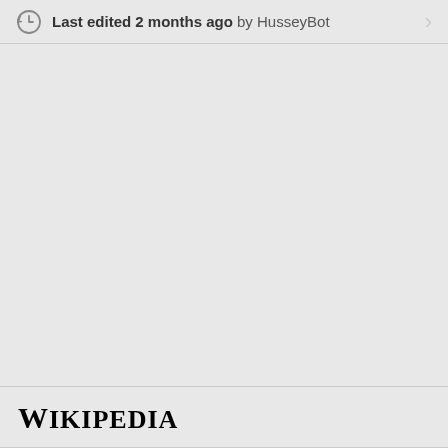Last edited 2 months ago by HusseyBot
Wikipedia